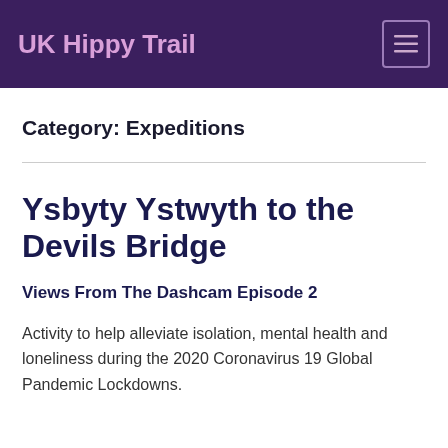UK Hippy Trail
Category: Expeditions
Ysbyty Ystwyth to the Devils Bridge
Views From The Dashcam Episode 2
Activity to help alleviate isolation, mental health and loneliness during the 2020 Coronavirus 19 Global Pandemic Lockdowns.